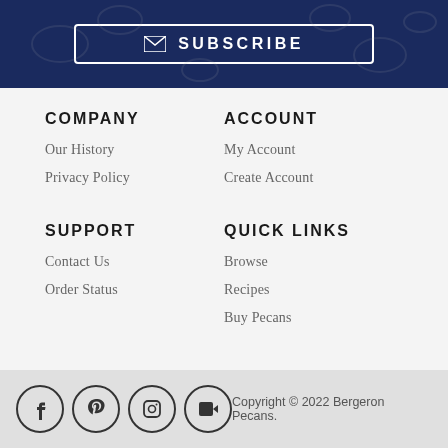[Figure (other): Dark navy banner with a SUBSCRIBE button with envelope icon and white border]
COMPANY
Our History
Privacy Policy
ACCOUNT
My Account
Create Account
SUPPORT
Contact Us
Order Status
QUICK LINKS
Browse
Recipes
Buy Pecans
Copyright © 2022 Bergeron Pecans.